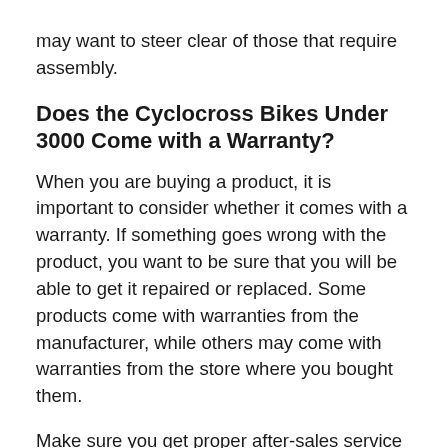may want to steer clear of those that require assembly.
Does the Cyclocross Bikes Under 3000 Come with a Warranty?
When you are buying a product, it is important to consider whether it comes with a warranty. If something goes wrong with the product, you want to be sure that you will be able to get it repaired or replaced. Some products come with warranties from the manufacturer, while others may come with warranties from the store where you bought them.
Make sure you get proper after-sales service if anything goes wrong while using it.